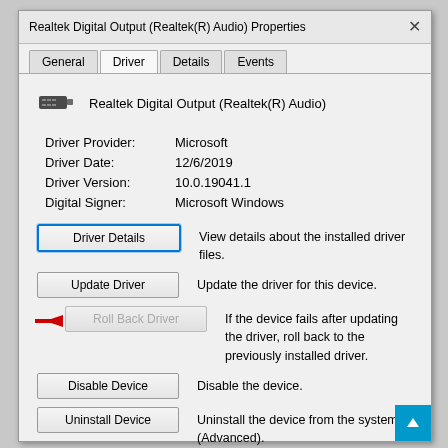Realtek Digital Output (Realtek(R) Audio) Properties
General   Driver   Details   Events
[Figure (screenshot): Device icon for Realtek Digital Output audio device]
Realtek Digital Output (Realtek(R) Audio)
| Driver Provider: | Microsoft |
| Driver Date: | 12/6/2019 |
| Driver Version: | 10.0.19041.1 |
| Digital Signer: | Microsoft Windows |
Driver Details — View details about the installed driver files.
Update Driver — Update the driver for this device.
[Figure (illustration): Red arrow pointing left toward the Roll Back Driver button]
Roll Back Driver — If the device fails after updating the driver, roll back to the previously installed driver.
Disable Device — Disable the device.
Uninstall Device — Uninstall the device from the system (Advanced).